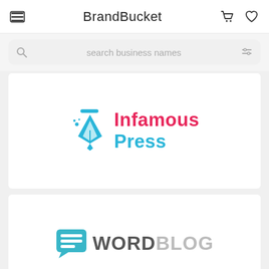BrandBucket
search business names
[Figure (logo): Infamous Press logo: blue fountain pen nib icon with pink/magenta text 'Infamous' and blue text 'Press']
[Figure (logo): WordBlog logo: teal speech bubble with horizontal lines icon, dark text 'WORD' and light gray text 'BLOG']